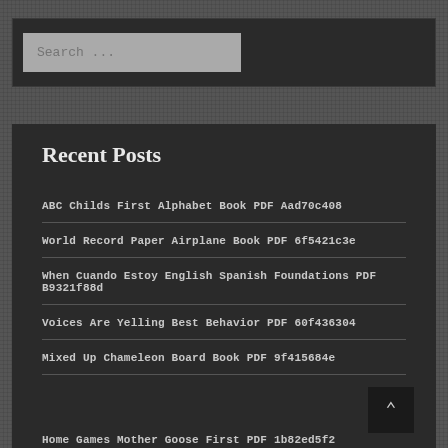[Figure (screenshot): Search input box with placeholder text 'Search ...' on dark background]
Recent Posts
ABC Childs First Alphabet Book PDF Aad70c408
World Record Paper Airplane Book PDF 6f5421c3e
When Cuando Estoy English Spanish Foundations PDF B9321f88d
Voices Are Yelling Best Behavior PDF 60f436304
Mixed Up Chameleon Board Book PDF 9f415684e
Home Games Mother Goose First PDF 1b82ed5f2